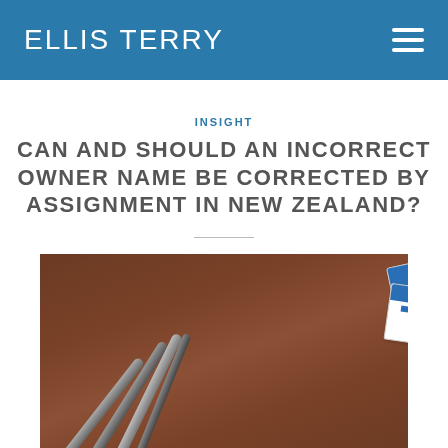Ellis Terry
INSIGHT
CAN AND SHOULD AN INCORRECT OWNER NAME BE CORRECTED BY ASSIGNMENT IN NEW ZEALAND?
[Figure (photo): Photo of name tag stickers with 'Hello my name is' printed on them, alongside several markers/pens on a wooden table surface]